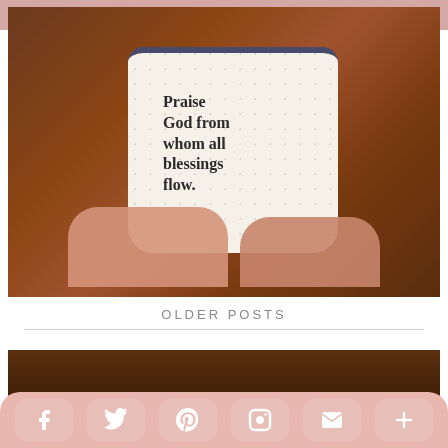[Figure (photo): Person holding a speckled white ceramic mug with text 'Praise God from whom all blessings flow.' printed on it. Person is wearing a brown fuzzy sweater and has painted nails with a ring on one finger.]
OLDER POSTS
[Figure (photo): Partial view of a bottom thumbnail image with dark brown tones, partially obscured by social share bar.]
f  Twitter  Pinterest  Instagram  Mail  More